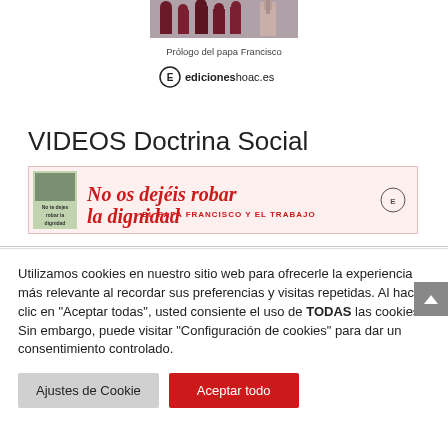[Figure (photo): Book cover image showing a group of people in dark clothes outdoors]
Prólogo del papa Francisco
[Figure (logo): edicioneshoac.es publisher logo with circular icon]
VIDEOS Doctrina Social
[Figure (illustration): Banner: 'No os dejéis robar la dignidad' in red cursive with 'EL PAPA FRANCISCO Y EL TRABAJO' subtitle and book cover thumbnail]
Utilizamos cookies en nuestro sitio web para ofrecerle la experiencia más relevante al recordar sus preferencias y visitas repetidas. Al hacer clic en "Aceptar todas", usted consiente el uso de TODAS las cookies. Sin embargo, puede visitar "Configuración de cookies" para dar un consentimiento controlado.
Ajustes de Cookie
Aceptar todo